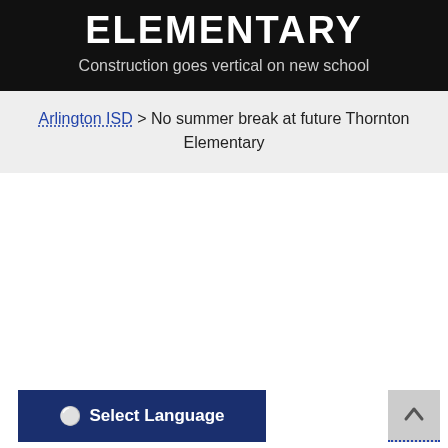ELEMENTARY
Construction goes vertical on new school
Arlington ISD > No summer break at future Thornton Elementary
⊕ Select Language